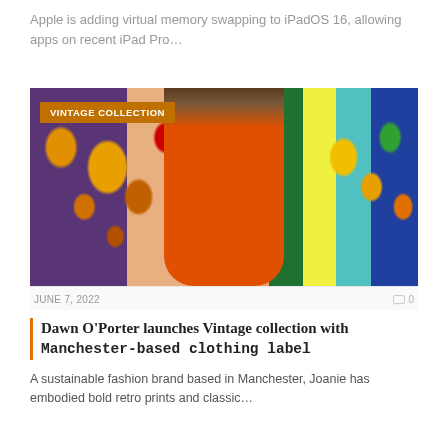Apple is adding virtual memory swapping to iPadOS 16, allowing apps on recent iPad Pro…
[Figure (photo): A woman wearing an orange vintage-style dress standing in front of colorful vintage floral fabric panels. A 'VINTAGE COLLECTION' badge appears in the top left corner of the image.]
JUNE 7, 2022   0
Dawn O'Porter launches Vintage collection with Manchester-based clothing label
A sustainable fashion brand based in Manchester, Joanie has embodied bold retro prints and classic…